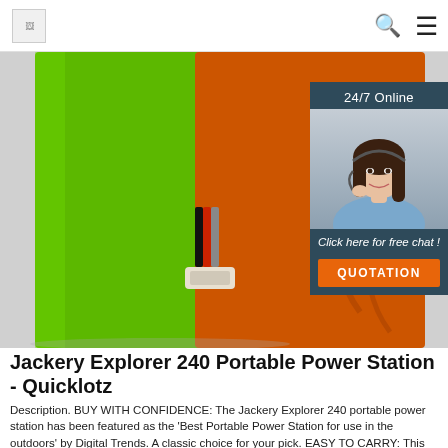[logo] [search icon] [menu icon]
[Figure (photo): Close-up photo of green and orange battery/power storage units side by side with wiring connectors visible, on white background. Overlay in top-right corner shows a 24/7 online chat widget with a female customer service agent wearing a headset, with text 'Click here for free chat!' and an orange QUOTATION button.]
Jackery Explorer 240 Portable Power Station - Quicklotz
Description. BUY WITH CONFIDENCE: The Jackery Explorer 240 portable power station has been featured as the 'Best Portable Power Station for use in the outdoors' by Digital Trends. A classic choice for your pick. EASY TO CARRY: This entry-level